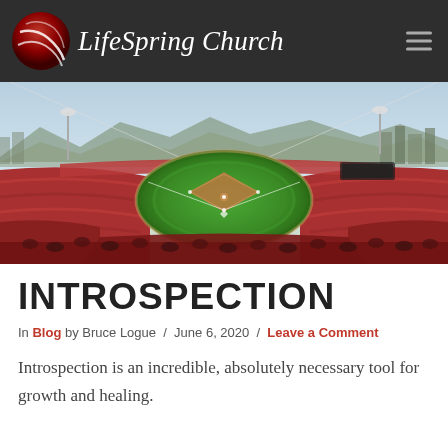LifeSpring Church
[Figure (photo): Aerial view of a packed baseball stadium with green field, crowds filling the stands, city skyline and mountains visible in the background under a partly cloudy sky.]
INTROSPECTION
In Blog by Bruce Logue / June 6, 2020 / Leave a Comment
Introspection is an incredible, absolutely necessary tool for growth and healing.